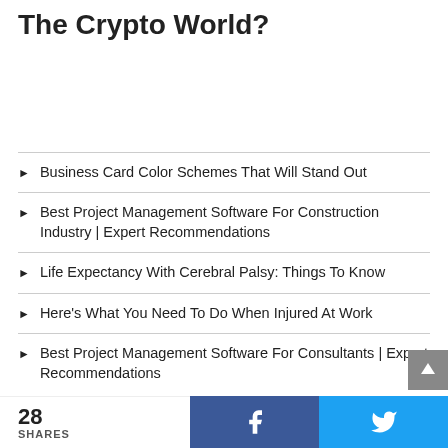The Crypto World?
Business Card Color Schemes That Will Stand Out
Best Project Management Software For Construction Industry | Expert Recommendations
Life Expectancy With Cerebral Palsy: Things To Know
Here's What You Need To Do When Injured At Work
Best Project Management Software For Consultants | Expert Recommendations
28 SHARES